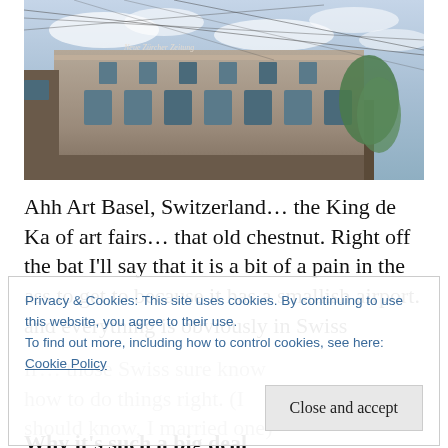[Figure (photo): Upward-angle photograph of a grand historic European building (Neue Zürcher Zeitung newspaper building) with ornate stone facade, tram wires crossing in front, green trees at right, cloudy sky background.]
Ahh Art Basel, Switzerland... the King de Ka of art fairs... that old chestnut. Right off the bat I'll say that it is a bit of a pain in the ass to get to because it has a smallish airport. and everything is obviously in Swiss fr... (continues, overlaid by cookie banner) ...those Swiss sure know how to do things right. (I should know, I married one) so should you even bother to go? The answer is yes, yes, and hell yes.
Privacy & Cookies: This site uses cookies. By continuing to use this website, you agree to their use.
To find out more, including how to control cookies, see here: Cookie Policy
[Close and accept]
Why it's such a big deal